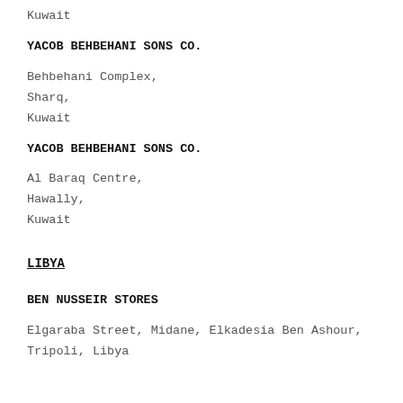Kuwait
YACOB BEHBEHANI SONS CO.
Behbehani Complex,
Sharq,
Kuwait
YACOB BEHBEHANI SONS CO.
Al Baraq Centre,
Hawally,
Kuwait
LIBYA
BEN NUSSEIR STORES
Elgaraba Street, Midane, Elkadesia Ben Ashour,
Tripoli, Libya